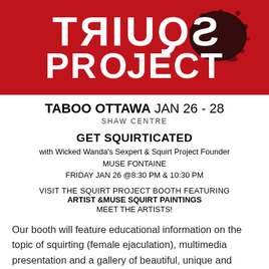[Figure (illustration): Red and black banner graphic for 'Squirt Project' with mirrored/reversed text styling and ink splatter design. Text reads SQUIRT (mirrored) and PRoJECT in large white bold letters on red background with black paint splatter.]
TABOO OTTAWA JAN 26 - 28
SHAW CENTRE
GET SQUIRTICATED
with Wicked Wanda's Sexpert & Squirt Project Founder
MUSE FONTAINE
FRIDAY JAN 26 @8:30 PM & 10:30 PM
VISIT THE SQUIRT PROJECT BOOTH FEATURING
ARTIST & MUSE SQUIRT PAINTINGS
MEET THE ARTISTS!
Our booth will feature educational information on the topic of squirting (female ejaculation), multimedia presentation and a gallery of beautiful, unique and controversial Squirt Paintings by Artist & Muse. The artists